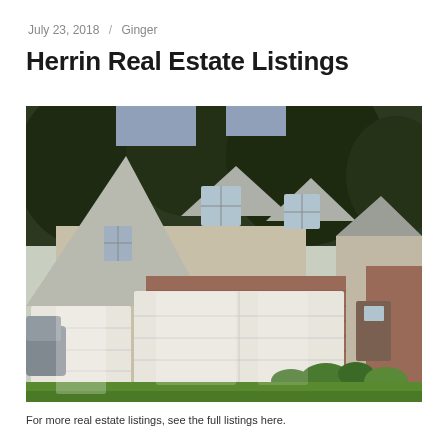July 23, 2018 / Ginger
Herrin Real Estate Listings
[Figure (photo): Exterior photo of a large two-story residential home with beige/gray siding, brick accents, three-car garage, multiple dormers, and green lawn. Driveway leads to garage. Trees in background.]
For more real estate listings, see the full listings here.